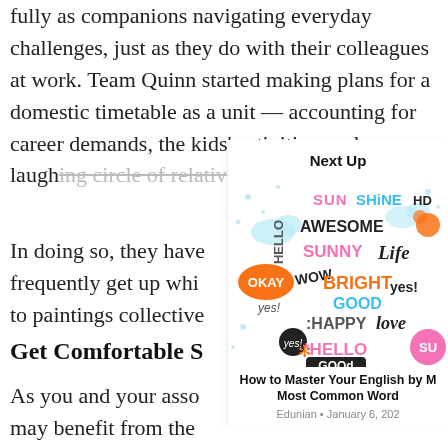fully as companions navigating everyday challenges, just as they do with their colleagues at work. Team Quinn started making plans for a domestic timetable as a unit — accounting for career demands, the kids' activities, and a laughing circle of relatives' outings. In doing so, they have frequently get up whi to paintings collective
Get Comfortable S
As you and your asso may benefit from the increasing number of everyday painting obl wait for consumer dir
Next Up
[Figure (illustration): Colorful word art illustration with positive words: SUNSHINE, HELLO, AWESOME, SUNNY, Life, OKAY, WOW, BRIGHT, GOOD, YES!, yes!, HAPPY, love, HELLO, SU... — various fonts and colors including pink, orange, teal, black on white background]
How to Master Your English by M Most Common Word Edunian • January 6, 202